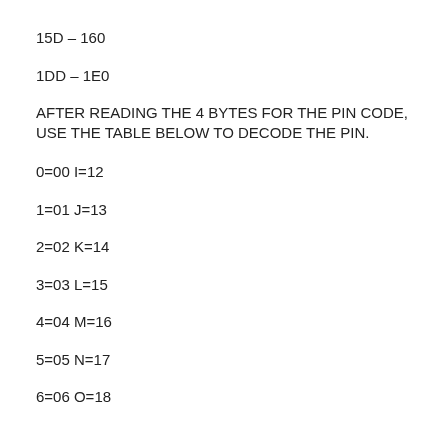15D – 160
1DD – 1E0
AFTER READING THE 4 BYTES FOR THE PIN CODE, USE THE TABLE BELOW TO DECODE THE PIN.
0=00 I=12
1=01 J=13
2=02 K=14
3=03 L=15
4=04 M=16
5=05 N=17
6=06 O=18